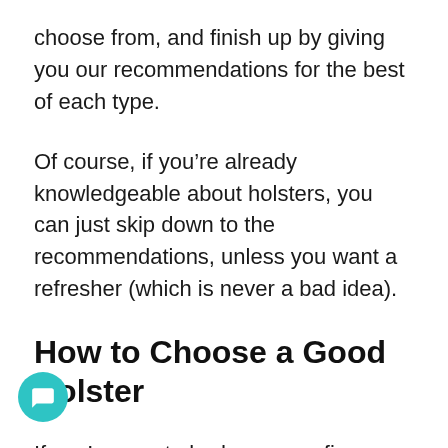choose from, and finish up by giving you our recommendations for the best of each type.
Of course, if you're already knowledgeable about holsters, you can just skip down to the recommendations, unless you want a refresher (which is never a bad idea).
How to Choose a Good Holster
If you're new to body carry or firearms in general, it may seem like your holster is just there to hold your gun when you aren't using it, but in reality, your holster's